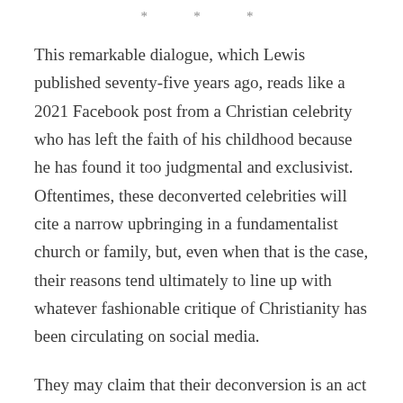* * *
This remarkable dialogue, which Lewis published seventy-five years ago, reads like a 2021 Facebook post from a Christian celebrity who has left the faith of his childhood because he has found it too judgmental and exclusivist. Oftentimes, these deconverted celebrities will cite a narrow upbringing in a fundamentalist church or family, but, even when that is the case, their reasons tend ultimately to line up with whatever fashionable critique of Christianity has been circulating on social media.
They may claim that their deconversion is an act of courageous non-conformity, a brave decision to